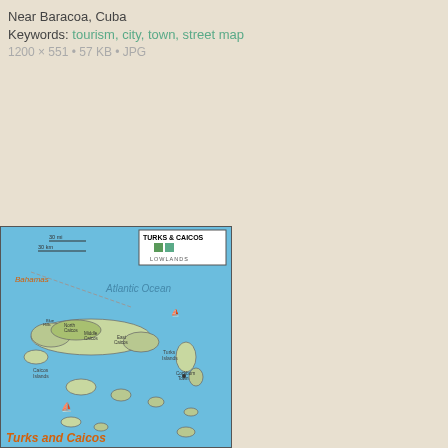Near Baracoa, Cuba
Keywords: tourism, city, town, street map
1200 × 551 • 57 KB • JPG
[Figure (map): Map of Turks and Caicos Islands showing Caicos Islands, Turks Islands, Atlantic Ocean, with place names and scale bar. Title box reads TURKS & CAICOS LOWLANDS. Bottom text reads Turks and Caicos in orange italic.]